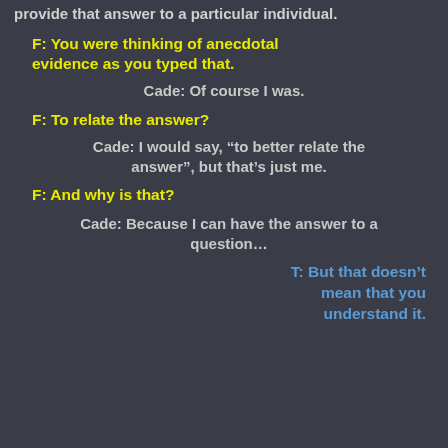provide that answer to a particular individual.
F: You were thinking of anecdotal evidence as you typed that.
Cade: Of course I was.
F: To relate the answer?
Cade: I would say, “to better relate the answer”, but that’s just me.
F: And why is that?
Cade: Because I can have the answer to a question…
T: But that doesn’t mean that you understand it.